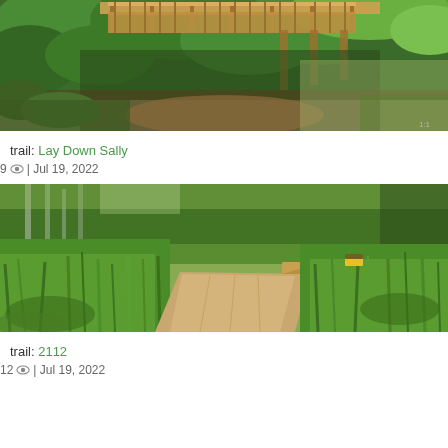[Figure (photo): Forest scene with a wooden footbridge over a ravine, surrounded by dense green trees and vegetation. Photo from a trail listing.]
trail: Lay Down Sally
9 👁 | Jul 19, 2022
[Figure (photo): Dirt mountain bike trail winding through tall green grass/ferns with a small wooden ramp feature visible ahead. Photo from a trail listing.]
trail: 2112
12 👁 | Jul 19, 2022